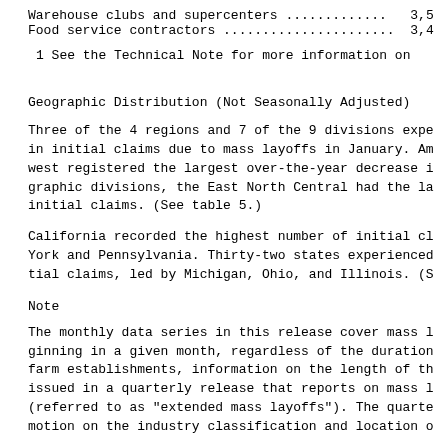| Warehouse clubs and supercenters ............ | 3,5 |
| Food service contractors ...................... | 3,4 |
1 See the Technical Note for more information on
Geographic Distribution (Not Seasonally Adjusted)
Three of the 4 regions and 7 of the 9 divisions expe
in initial claims due to mass layoffs in January. Am
west registered the largest over-the-year decrease i
raphic divisions, the East North Central had the la
initial claims. (See table 5.)
California recorded the highest number of initial cl
York and Pennsylvania. Thirty-two states experienced
tial claims, led by Michigan, Ohio, and Illinois. (S
Note
The monthly data series in this release cover mass l
ginning in a given month, regardless of the duration
farm establishments, information on the length of th
issued in a quarterly release that reports on mass l
(referred to as "extended mass layoffs"). The quarte
motion on the industry classification and location o